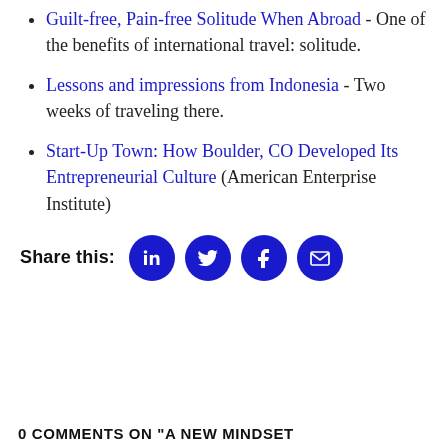Guilt-free, Pain-free Solitude When Abroad - One of the benefits of international travel: solitude.
Lessons and impressions from Indonesia - Two weeks of traveling there.
Start-Up Town: How Boulder, CO Developed Its Entrepreneurial Culture (American Enterprise Institute)
Share this:
0 COMMENTS ON "A NEW MINDSET